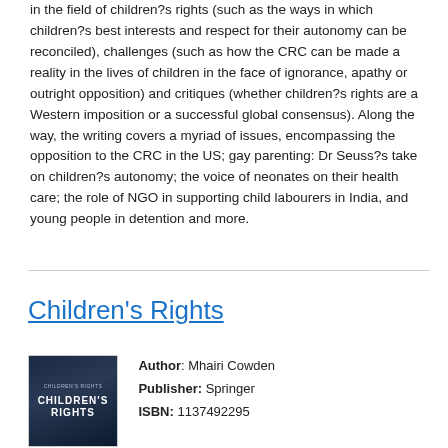in the field of children?s rights (such as the ways in which children?s best interests and respect for their autonomy can be reconciled), challenges (such as how the CRC can be made a reality in the lives of children in the face of ignorance, apathy or outright opposition) and critiques (whether children?s rights are a Western imposition or a successful global consensus). Along the way, the writing covers a myriad of issues, encompassing the opposition to the CRC in the US; gay parenting: Dr Seuss?s take on children?s autonomy; the voice of neonates on their health care; the role of NGO in supporting child labourers in India, and young people in detention and more.
Children's Rights
[Figure (illustration): Book cover for Children's Rights with dark blue background and white title text]
Author: Mhairi Cowden Publisher: Springer ISBN: 1137492295